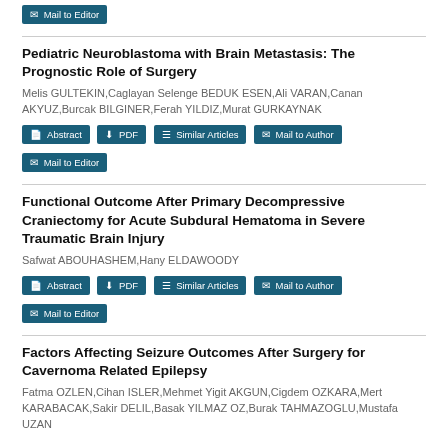[Figure (other): Mail to Editor button at top of page]
Pediatric Neuroblastoma with Brain Metastasis: The Prognostic Role of Surgery
Melis GULTEKIN,Caglayan Selenge BEDUK ESEN,Ali VARAN,Canan AKYUZ,Burcak BILGINER,Ferah YILDIZ,Murat GURKAYNAK
Functional Outcome After Primary Decompressive Craniectomy for Acute Subdural Hematoma in Severe Traumatic Brain Injury
Safwat ABOUHASHEM,Hany ELDAWOODY
Factors Affecting Seizure Outcomes After Surgery for Cavernoma Related Epilepsy
Fatma OZLEN,Cihan ISLER,Mehmet Yigit AKGUN,Cigdem OZKARA,Mert KARABACAK,Sakir DELIL,Basak YILMAZ OZ,Burak TAHMAZOGLU,Mustafa UZAN